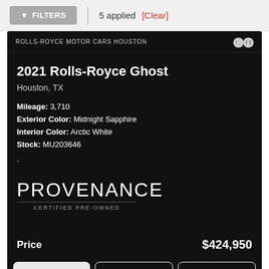FILTERS  5 applied  [Clear]
ROLLS-ROYCE MOTOR CARS HOUSTON
2021 Rolls-Royce Ghost
Houston, TX
Mileage: 3,710
Exterior Color: Midnight Sapphire
Interior Color: Arctic White
Stock: MU203646
[Figure (logo): PROVENANCE CERTIFIED PRE-OWNED logo with text and underline]
Price  $424,950
DETAILS  INQUIRE  VIEW VIDEO